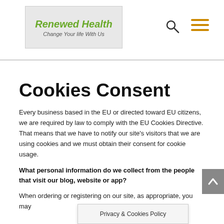Renewed Health – Change Your life With Us
Cookies Consent
Every business based in the EU or directed toward EU citizens, we are required by law to comply with the EU Cookies Directive. That means that we have to notify our site's visitors that we are using cookies and we must obtain their consent for cookie usage.
What personal information do we collect from the people that visit our blog, website or app?
When ordering or registering on our site, as appropriate, you may be asked to enter your name, email address, mailing address...
Privacy & Cookies Policy